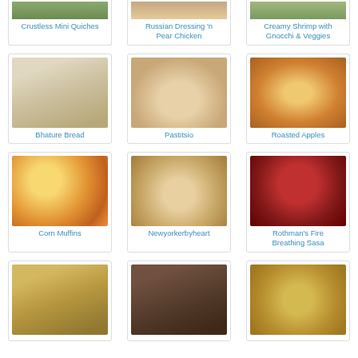[Figure (photo): Crustless Mini Quiches - top portion cut off]
Crustless Mini Quiches
[Figure (photo): Russian Dressing 'n Pear Chicken - top portion cut off]
Russian Dressing 'n Pear Chicken
[Figure (photo): Creamy Shrimp with Gnocchi & Veggies - top portion cut off]
Creamy Shrimp with Gnocchi & Veggies
[Figure (photo): Bhature Bread - puffy flatbreads dusted with flour]
Bhature Bread
[Figure (photo): Pastitsio - pasta dish on plate]
Pastitsio
[Figure (photo): Roasted Apples in bowl]
Roasted Apples
[Figure (photo): Corn Muffins in orange liners in basket]
Corn Muffins
[Figure (photo): Newyorkerbyheart - flatbread/tart]
Newyorkerbyheart
[Figure (photo): Rothman's Fire Breathing Sasa - dip with chips]
Rothman's Fire Breathing Sasa
[Figure (photo): Bottom row item 1 - rice/curry dish]
[Figure (photo): Bottom row item 2 - interior room photo]
[Figure (photo): Bottom row item 3 - bread rolls]